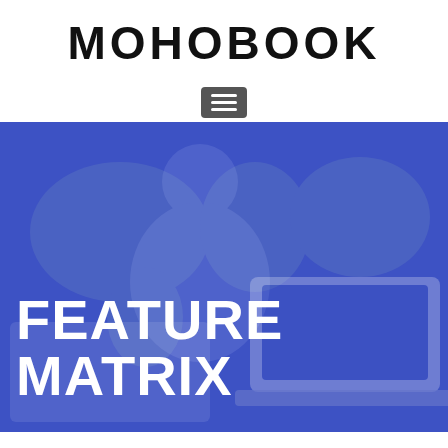MOHOBOOK
[Figure (other): Hamburger menu icon button with three horizontal white lines on a dark gray rounded rectangle background]
[Figure (illustration): Blue hero banner with a semi-transparent world map and laptop/technology imagery in the background, overlaid with bold white text reading FEATURE MATRIX]